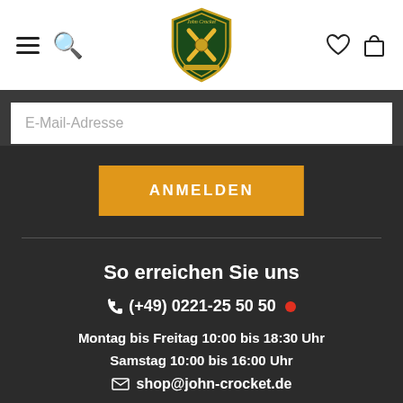[Figure (logo): John Crocket shield logo with cricket bat motif, green and gold colors]
E-Mail-Adresse
ANMELDEN
So erreichen Sie uns
(+49) 0221-25 50 50
Montag bis Freitag 10:00 bis 18:30 Uhr
Samstag 10:00 bis 16:00 Uhr
shop@john-crocket.de